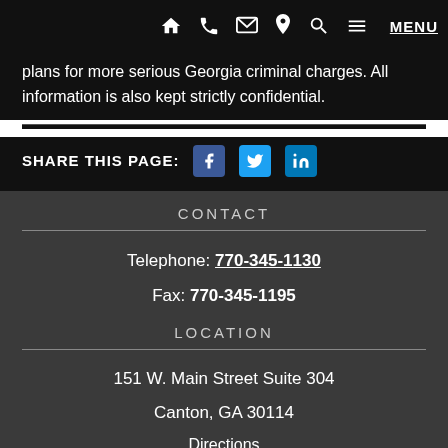Navigation bar with home, phone, email, location, search, and MENU icons
plans for more serious Georgia criminal charges. All information is also kept strictly confidential.
SHARE THIS PAGE: [Facebook] [Twitter] [LinkedIn]
CONTACT
Telephone: 770-345-1130
Fax: 770-345-1195
LOCATION
151 W. Main Street Suite 304
Canton, GA 30114
Directions